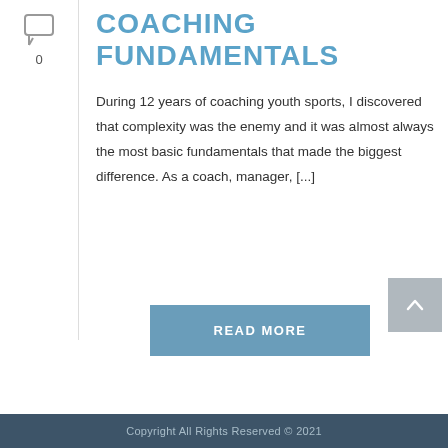[Figure (other): Comment icon (speech bubble) with count 0 below it, in the left sidebar]
COACHING FUNDAMENTALS
During 12 years of coaching youth sports, I discovered that complexity was the enemy and it was almost always the most basic fundamentals that made the biggest difference. As a coach, manager, [...]
[Figure (other): READ MORE button in steel blue]
[Figure (other): Back-to-top arrow button (gray square)]
[Figure (other): Shopping cart widget with pink badge showing 0]
[Figure (other): Shopping cart icon in circular white widget with orange badge showing 0]
Copyright All Rights Reserved © 2021